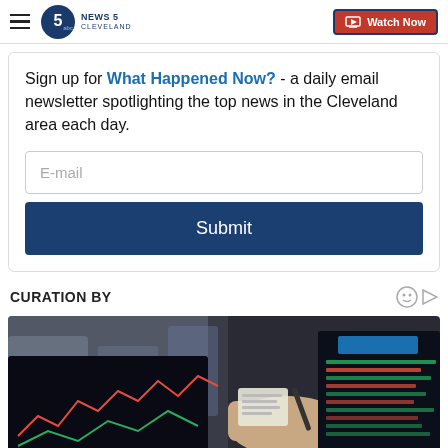NEWS 5 CLEVELAND | Watch Now
Sign up for What Happened Now? - a daily email newsletter spotlighting the top news in the Cleveland area each day.
E-mail
Submit
CURATION BY
[Figure (photo): Person pointing at financial trading screens with stock charts and data]